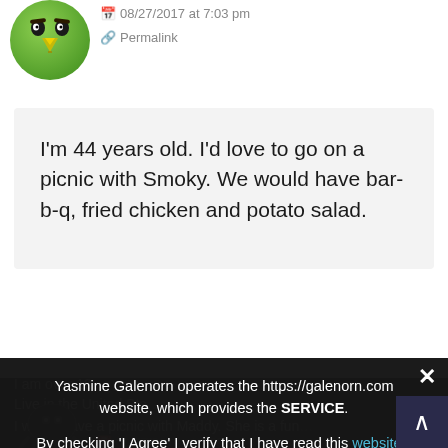08/27/2017 at 7:03 pm
Permalink
I'm 44 years old. I'd love to go on a picnic with Smoky. We would have bar-b-q, fried chicken and potato salad.
Yasmine Galenorn operates the https://galenorn.com website, which provides the SERVICE.
By checking 'I Agree' I verify that I have read this website's privacy policy and I agree to its terms.
Privacy Preferences
I Agree
06/27/2017 at 6:33 pm
I am over 18
Live in the United Sta…
I would have a picnic with Maddy. She is a fun…